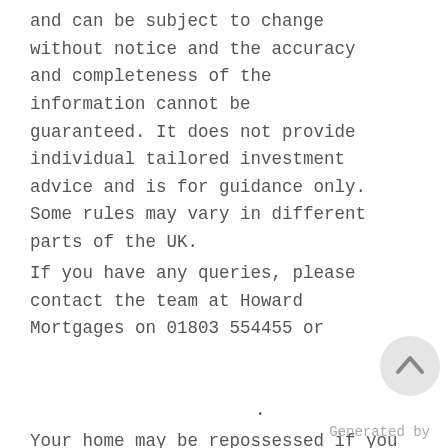and can be subject to change without notice and the accuracy and completeness of the information cannot be guaranteed. It does not provide individual tailored investment advice and is for guidance only. Some rules may vary in different parts of the UK.
If you have any queries, please contact the team at Howard Mortgages on 01803 554455 or .
Your home may be repossessed if you do not keep up repayments on your mortgage.
Generated by